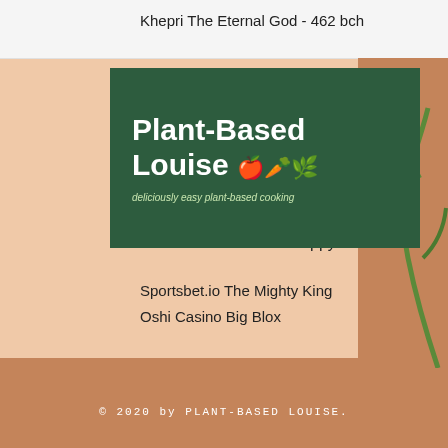Khepri The Eternal God - 462 bch
[Figure (logo): Plant-Based Louise logo - dark green background with white bold text reading 'Plant-Based Louise' with fruit and vegetable icons and tagline 'deliciously easy plant-based cooking']
atra
ppy Birds
Sportsbet.io The Mighty King
Oshi Casino Big Blox
https://www.kendallwrites.com/profile/damonkennady15628441/profile
https://en.jaymaaratneshwari.com/profile/shaunawyllie3527685/profile
https://www.andreiazangi.com/profile/erichzanderigo18598685/profile
https://www.hybridmother.com/profile/boydlatch4317557/profile
© 2020 by PLANT-BASED LOUISE.